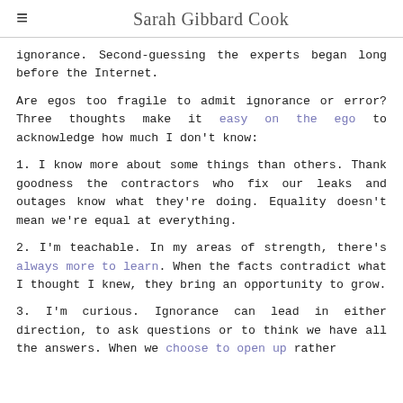Sarah Gibbard Cook
ignorance. Second-guessing the experts began long before the Internet.
Are egos too fragile to admit ignorance or error? Three thoughts make it easy on the ego to acknowledge how much I don't know:
1. I know more about some things than others. Thank goodness the contractors who fix our leaks and outages know what they're doing. Equality doesn't mean we're equal at everything.
2. I'm teachable. In my areas of strength, there's always more to learn. When the facts contradict what I thought I knew, they bring an opportunity to grow.
3. I'm curious. Ignorance can lead in either direction, to ask questions or to think we have all the answers. When we choose to open up rather